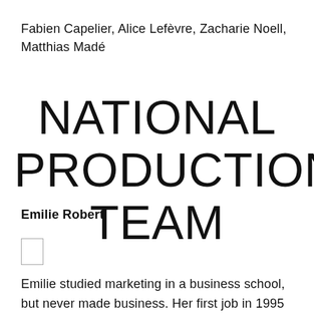Fabien Capelier, Alice Lefèvre, Zacharie Noell, Matthias Madé
NATIONAL PRODUCTION TEAM
Emilie Robert
[Figure (photo): Small placeholder photo box (outline rectangle)]
Emilie studied marketing in a business school, but never made business. Her first job in 1995